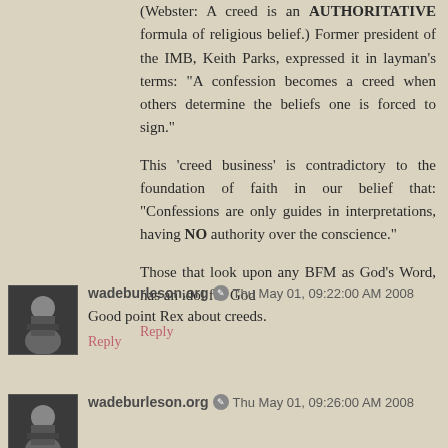(Webster: A creed is an AUTHORITATIVE formula of religious belief.) Former president of the IMB, Keith Parks, expressed it in layman's terms: “A confession becomes a creed when others determine the beliefs one is forced to sign.”
This ‘creed business’ is contradictory to the foundation of faith in our belief that: “Confessions are only guides in interpretations, having NO authority over the conscience.”
Those that look upon any BFM as God’s Word, has an idol for God
Reply
wadeburleson.org ✎ Thu May 01, 09:22:00 AM 2008
Good point Rex about creeds.
Reply
wadeburleson.org ✎ Thu May 01, 09:26:00 AM 2008